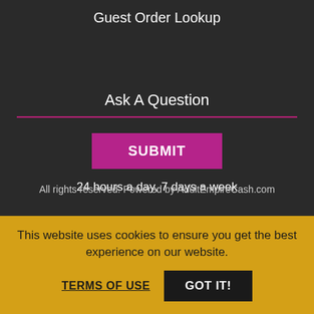Guest Order Lookup
Ask A Question
[Figure (other): SUBMIT button (magenta/pink background, white bold text)]
24 hours a day, 7 days a week
All rights reserved. Powered by AdultEmpireCash.com
This website uses cookies to ensure you get the best experience on our website.
TERMS OF USE   GOT IT!